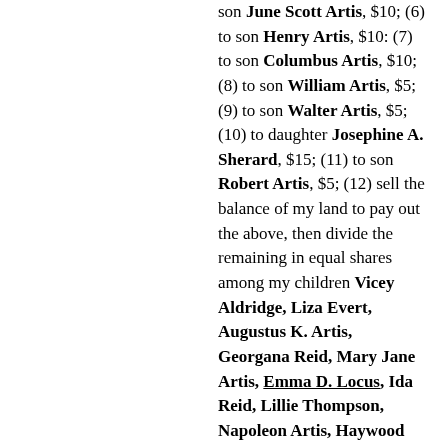son June Scott Artis, $10; (6) to son Henry Artis, $10: (7) to son Columbus Artis, $10; (8) to son William Artis, $5; (9) to son Walter Artis, $5; (10) to daughter Josephine A. Sherard, $15; (11) to son Robert Artis, $5; (12) sell the balance of my land to pay out the above, then divide the remaining in equal shares among my children Vicey Aldridge, Liza Evert, Augustus K. Artis, Georgana Reid, Mary Jane Artis, Emma D. Locus, Ida Reid, Lillie Thompson, Napoleon Artis, Haywood Artis, Addie Artis, Annie Artis, Alberta Artis, and Jesse Artis, and, at Katie's death, property to be divided